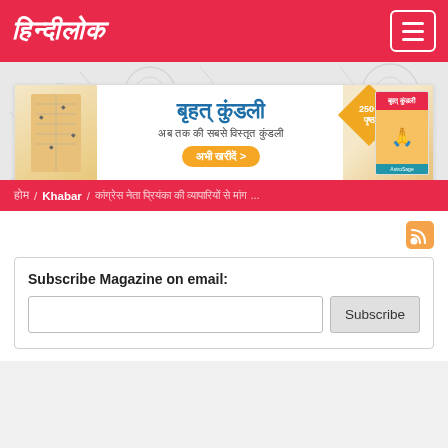हिन्दीलोक
[Figure (illustration): Decorative swirl/mandala pattern background in light grey]
[Figure (illustration): Advertisement banner for बृहत् कुंडली (Brihat Kundali) - horoscope product with 250+ pages badge, book image, and buy now button]
होम / Khabar / कांग्रेस नेता प्रियंका की व्यापारियों से मांग ...
[Figure (other): RSS feed icon (orange)]
Subscribe Magazine on email:
Subscribe